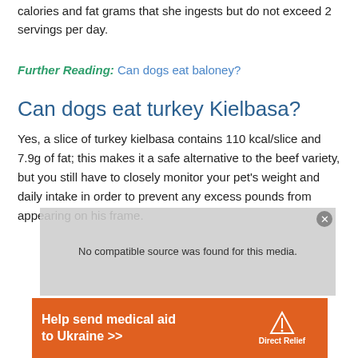calories and fat grams that she ingests but do not exceed 2 servings per day.
Further Reading: Can dogs eat baloney?
Can dogs eat turkey Kielbasa?
Yes, a slice of turkey kielbasa contains 110 kcal/slice and 7.9g of fat; this makes it a safe alternative to the beef variety, but you still have to closely monitor your pet's weight and daily intake in order to prevent any excess pounds from appearing on his frame.
[Figure (other): Video player overlay showing 'No compatible source was found for this media.' with a close button]
[Figure (other): Orange advertisement banner: 'Help send medical aid to Ukraine >>' with Direct Relief logo]